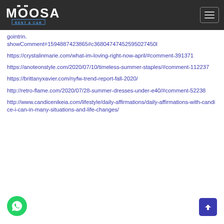[Figure (logo): Moosa Rent A Car logo in white on dark header background]
[Figure (other): Hamburger menu button top right]
gointrin showComment=1594887423865#c36804747452595027450l
https://crystalinmarie.com/what-im-loving-right-now-april/#comment-391371
https://anoteonstyle.com/2020/07/10/timeless-summer-staples/#comment-112237
https://brittanyxavier.com/nyfw-trend-report-fall-2020/
http://retro-flame.com/2020/07/28-summer-dresses-under-e40/#comment-52238
http://www.candicenikeia.com/lifestyle/daily-affirmations/daily-affirmations-with-candice-i-can-in-many-situations-and-life-changes/
[Figure (other): Green WhatsApp floating button bottom left]
[Figure (other): Blue scroll-to-top button bottom right]